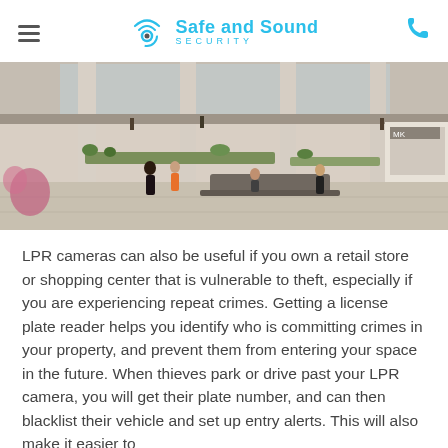Safe and Sound Security
[Figure (photo): Interior of a modern shopping mall or retail center with multiple levels, large columns, open corridors, greenery planters, and shoppers walking around.]
LPR cameras can also be useful if you own a retail store or shopping center that is vulnerable to theft, especially if you are experiencing repeat crimes. Getting a license plate reader helps you identify who is committing crimes in your property, and prevent them from entering your space in the future. When thieves park or drive past your LPR camera, you will get their plate number, and can then blacklist their vehicle and set up entry alerts. This will also make it easier to